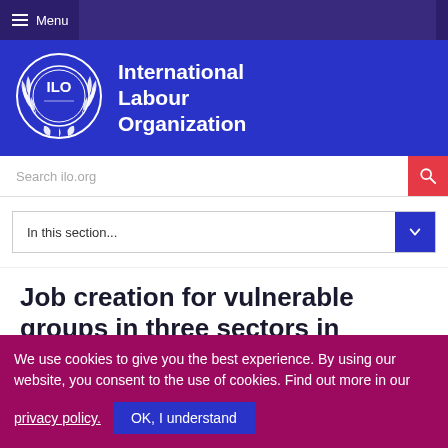Menu
[Figure (logo): ILO - International Labour Organization logo with wreath emblem in white on blue background]
International Labour Organization
Search ilo.org
In this section...
Job creation for vulnerable groups in three sectors in
We use cookies to give you the best experience. By using our website, you consent to the use of cookies. Find out more in our privacy policy.
OK, I understand